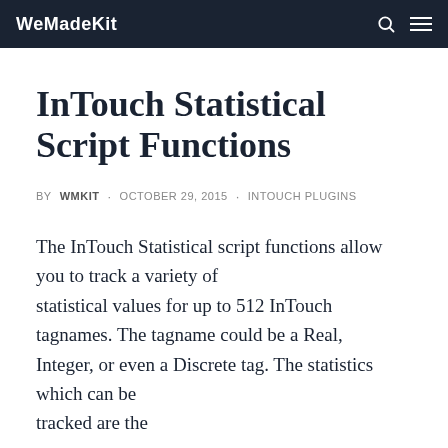WeMadeKit
InTouch Statistical Script Functions
BY WMKIT · OCTOBER 29, 2015 · INTOUCH PLUGINS
The InTouch Statistical script functions allow you to track a variety of statistical values for up to 512 InTouch tagnames. The tagname could be a Real, Integer, or even a Discrete tag. The statistics which can be tracked are the